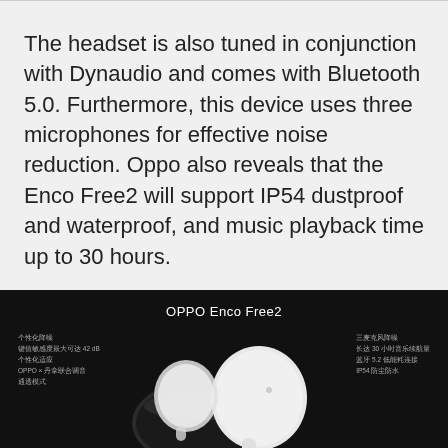The headset is also tuned in conjunction with Dynaudio and comes with Bluetooth 5.0. Furthermore, this device uses three microphones for effective noise reduction. Oppo also reveals that the Enco Free2 will support IP54 dustproof and waterproof, and music playback time up to 30 hours.
[Figure (photo): OPPO Enco Free2 product promotional image on black background showing white wireless earbuds and case, with Chinese feature text on left and right sides listing features like three-microphone noise reduction, 30 hours playback, Bluetooth 5.2, and IP54 rating.]